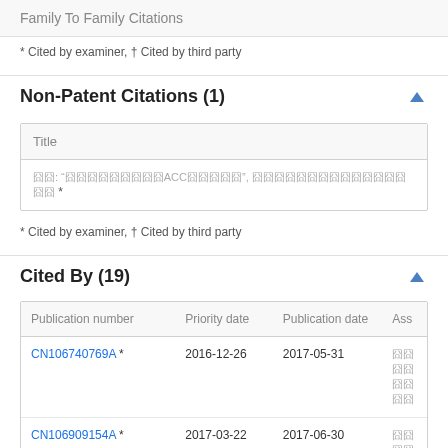Family To Family Citations
* Cited by examiner, † Cited by third party
Non-Patent Citations (1)
| Title |
| --- |
| 囧囧: "囧囧囧囧囧囧囧囧囧ACC囧囧囧囧囧", 囧囧囧囧囧囧囧囧囧囧囧囧囧囧囧囧 * |
* Cited by examiner, † Cited by third party
Cited By (19)
| Publication number | Priority date | Publication date | Ass |
| --- | --- | --- | --- |
| CN106740769A * | 2016-12-26 | 2017-05-31 | 囧囧囧囧囧囧囧囧 |
| CN106909154A * | 2017-03-22 | 2017-06-30 | 囧囧囧囧囧 |